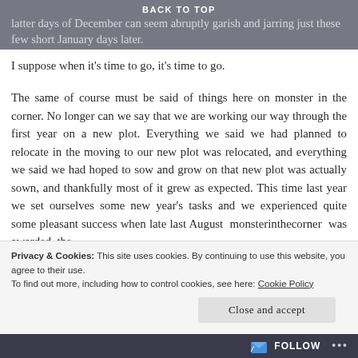latter days of December can seem abruptly garish and jarring just these few short January days later.
BACK TO TOP
I suppose when it's time to go, it's time to go.
The same of course must be said of things here on monster in the corner. No longer can we say that we are working our way through the first year on a new plot. Everything we said we had planned to relocate in the moving to our new plot was relocated, and everything we said we had hoped to sow and grow on that new plot was actually sown, and thankfully most of it grew as expected. This time last year we set ourselves some new year's tasks and we experienced quite some pleasant success when late last August monsterinthecorner was awarded the
Privacy & Cookies: This site uses cookies. By continuing to use this website, you agree to their use.
To find out more, including how to control cookies, see here: Cookie Policy
Close and accept
FOLLOW ...